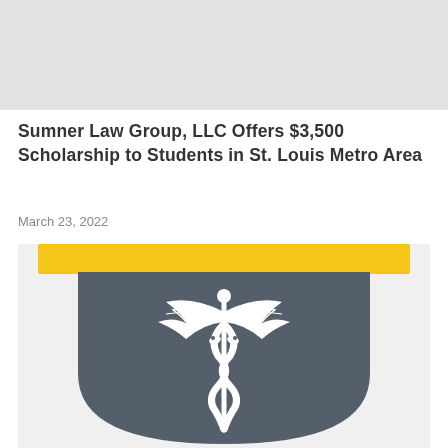[Figure (photo): Gray banner/header image placeholder at top of page]
Sumner Law Group, LLC Offers $3,500 Scholarship to Students in St. Louis Metro Area
March 23, 2022
[Figure (logo): Shield-shaped logo with gold/yellow top bar and dark gray shield body containing a white caduceus (medical/hermes staff with two snakes and wings) symbol]